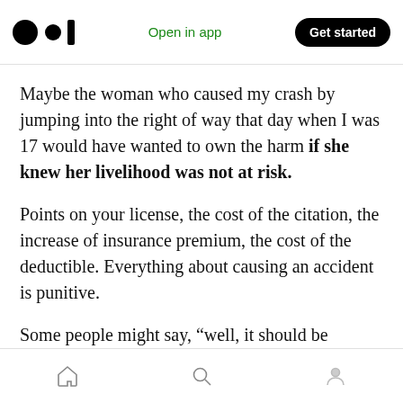Open in app | Get started
Maybe the woman who caused my crash by jumping into the right of way that day when I was 17 would have wanted to own the harm if she knew her livelihood was not at risk.
Points on your license, the cost of the citation, the increase of insurance premium, the cost of the deductible. Everything about causing an accident is punitive.
Some people might say, “well, it should be punitive! Otherwise, people will just drive
Home | Search | Profile